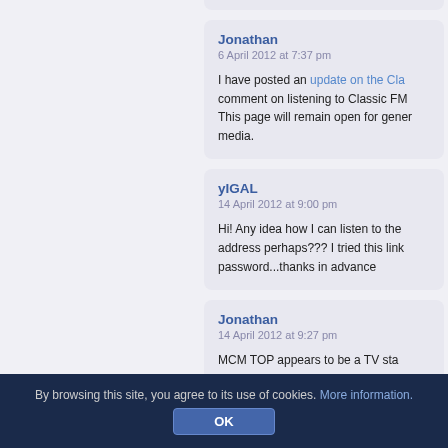Jonathan
6 April 2012 at 7:37 pm
I have posted an update on the Cla... comment on listening to Classic FM... This page will remain open for general... media.
yIGAL
14 April 2012 at 9:00 pm
Hi! Any idea how I can listen to the... address perhaps??? I tried this link... password...thanks in advance
Jonathan
14 April 2012 at 9:27 pm
MCM TOP appears to be a TV sta... encrypted via the Astra satellite. Th... streams, but none of them work. On... 404 Not Found – possibly it's been s...
By browsing this site, you agree to its use of cookies. More information.
OK